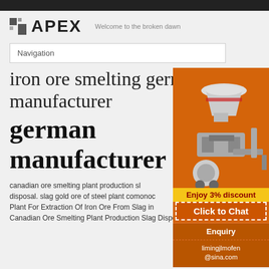APEX — Welcome to the broken dawn
Navigation
iron ore smelting german manufacturer
german manufacturer
canadian ore smelting plant production slag disposal. slag gold ore of steel plant comonoc... Plant For Extraction Of Iron Ore From Slag in... Canadian Ore Smelting Plant Production Slag Disposal
[Figure (illustration): Orange advertisement sidebar showing industrial mining/crushing machinery (cone crusher, jaw crusher, ball mill), with 'Enjoy 3% discount' in yellow, 'Click to Chat' button, 'Enquiry' section, and email limingjlmofen@sina.com]